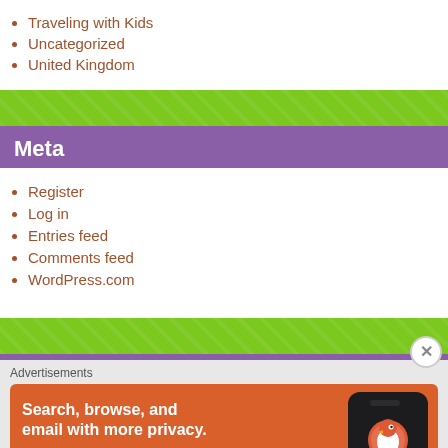Traveling with Kids
Uncategorized
United Kingdom
Meta
Register
Log in
Entries feed
Comments feed
WordPress.com
[Figure (screenshot): DuckDuckGo advertisement banner: orange background with text 'Search, browse, and email with more privacy. All in One Free App' alongside a phone image with DuckDuckGo logo]